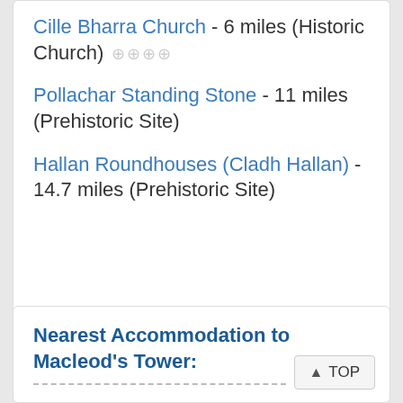Cille Bharra Church - 6 miles (Historic Church)
Pollachar Standing Stone - 11 miles (Prehistoric Site)
Hallan Roundhouses (Cladh Hallan) - 14.7 miles (Prehistoric Site)
Nearest Accommodation to Macleod's Tower: